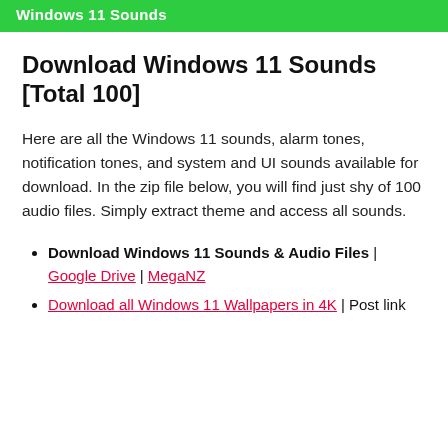Windows 11 Sounds
Download Windows 11 Sounds [Total 100]
Here are all the Windows 11 sounds, alarm tones, notification tones, and system and UI sounds available for download. In the zip file below, you will find just shy of 100 audio files. Simply extract theme and access all sounds.
Download Windows 11 Sounds & Audio Files | Google Drive | MegaNZ
Download all Windows 11 Wallpapers in 4K | Post link